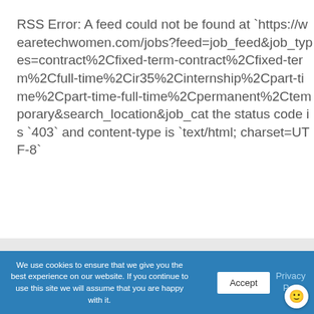RSS Error: A feed could not be found at `https://wearetechwomen.com/jobs?feed=job_feed&job_types=contract%2Cfixed-term-contract%2Cfixed-term%2Cfull-time%2Cir35%2Cinternship%2Cpart-time%2Cpart-time-full-time%2Cpermanent%2Ctemporary&search_location&job_cat the status code is `403` and content-type is `text/html; charset=UTF-8`
We use cookies to ensure that we give you the best experience on our website. If you continue to use this site we will assume that you are happy with it.